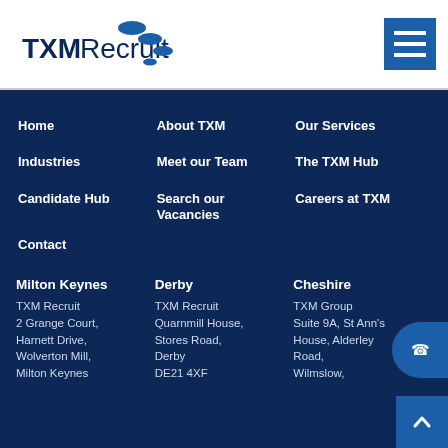[Figure (logo): TXM Recruit company logo with blue oval shapes and dots]
Home
About TXM
Our Services
Industries
Meet our Team
The TXM Hub
Candidate Hub
Search our Vacancies
Careers at TXM
Contact
Milton Keynes
Derby
Cheshire
TXM Recruit
2 Grange Court,
Harnett Drive,
Wolverton Mill,
Milton Keynes
TXM Recruit
Quarnmill House,
Stores Road,
Derby
DE21 4XF
TXM Group
Suite 9A, St Ann's House, Alderley Road,
Wilmslow,